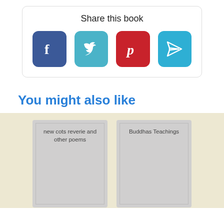Share this book
[Figure (infographic): Four social media share buttons: Facebook (blue), Twitter (teal), Pinterest (red), Telegram (blue) as rounded square icons]
You might also like
[Figure (illustration): Book cover placeholder card with title 'new cots reverie and other poems' on a gray background]
[Figure (illustration): Book cover placeholder card with title 'Buddhas Teachings' on a gray background]